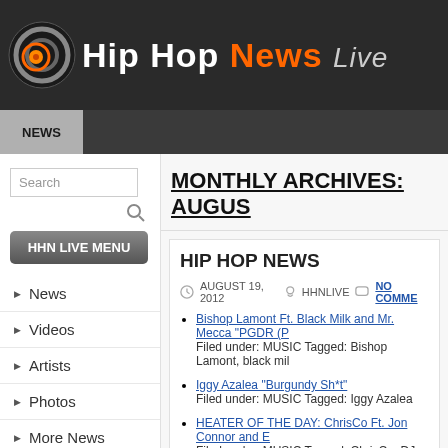Hip Hop News Live
NEWS
Search
HHN LIVE MENU
News
Videos
Artists
Photos
More News
MONTHLY ARCHIVES: AUGUS
HIP HOP NEWS
AUGUST 19, 2012  HHNLIVE  NO COMME
Bishop Lamont Ft. Black Milk and Mr. Mecca "PGDR (P"
Filed under: MUSIC Tagged: Bishop Lamont, black mil
Iggy Azalea "Burgundy Sh*t"
Filed under: MUSIC Tagged: Iggy Azalea
HEATER OF THE DAY: ChrisCo Ft. Jon Connor and E
Filed under: MUSIC Tagged: ChrisCo, DJ Premier, Elzb
Los "No Lie Freestyle"
Filed under: MUSIC Tagged: Los